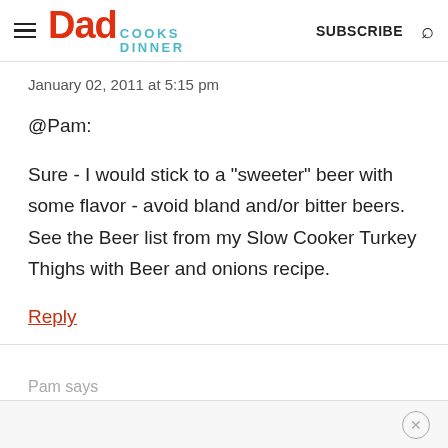Dad Cooks Dinner | SUBSCRIBE
January 02, 2011 at 5:15 pm
@Pam:
Sure - I would stick to a "sweeter" beer with some flavor - avoid bland and/or bitter beers. See the Beer list from my Slow Cooker Turkey Thighs with Beer and onions recipe.
Reply
Pam says